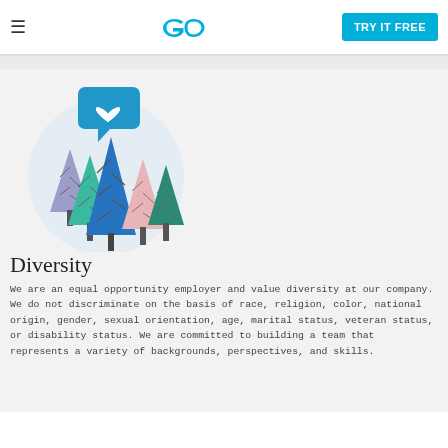TRY IT FREE
[Figure (illustration): Colorful illustrated forest of stylized trees (purple, green, blue, pink) with a blue speech bubble containing a white heart above them, set in a circular light-blue background.]
Diversity
We are an equal opportunity employer and value diversity at our company. We do not discriminate on the basis of race, religion, color, national origin, gender, sexual orientation, age, marital status, veteran status, or disability status. We are committed to building a team that represents a variety of backgrounds, perspectives, and skills.